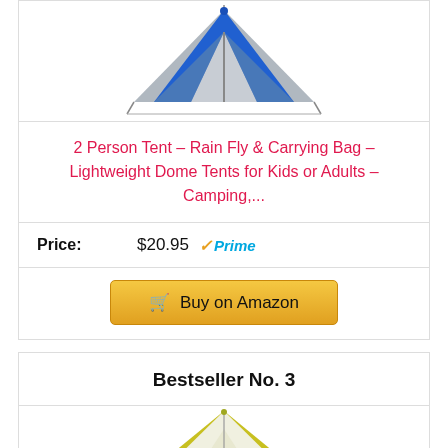[Figure (photo): Blue and grey dome camping tent product photo]
2 Person Tent – Rain Fly & Carrying Bag – Lightweight Dome Tents for Kids or Adults – Camping,...
Price: $20.95 ✓Prime
Buy on Amazon
Bestseller No. 3
[Figure (photo): Yellow and white A-frame camping tent product photo]